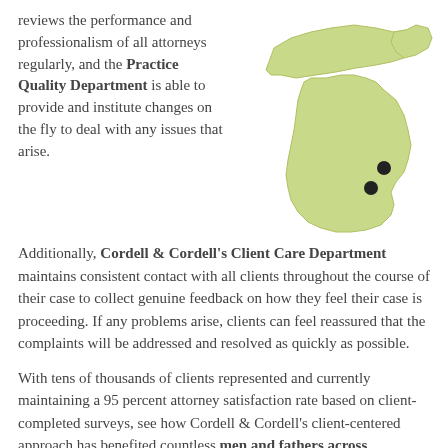reviews the performance and professionalism of all attorneys regularly, and the Practice Quality Department is able to provide and institute changes on the fly to deal with any issues that arise.
[Figure (map): Outline map of Michigan state (lower and upper peninsulas) in light green, with two black dots indicating office locations in the southeastern region of the lower peninsula.]
Additionally, Cordell & Cordell's Client Care Department maintains consistent contact with all clients throughout the course of their case to collect genuine feedback on how they feel their case is proceeding. If any problems arise, clients can feel reassured that the complaints will be addressed and resolved as quickly as possible.
With tens of thousands of clients represented and currently maintaining a 95 percent attorney satisfaction rate based on client-completed surveys, see how Cordell & Cordell's client-centered approach has benefited countless men and fathers across Michigan.
Cordell & Cordell Reviews on Attorney Adv...